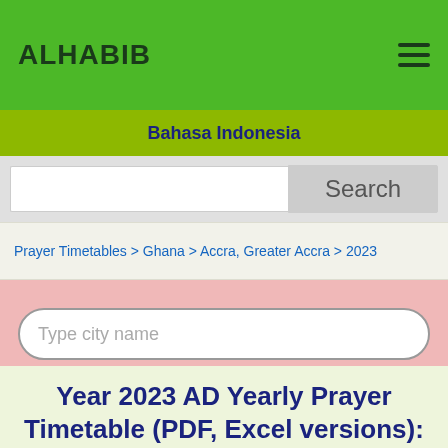ALHABIB
Bahasa Indonesia
Search
Prayer Timetables > Ghana > Accra, Greater Accra > 2023
Type city name
Find Prayer Timetable
Year 2023 AD Yearly Prayer Timetable (PDF, Excel versions): Accra, Greater Accra, Ghana